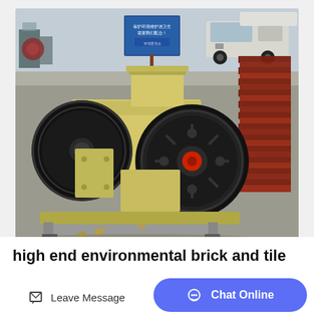[Figure (photo): A yellow industrial jaw crusher or brick/tile crushing machine with large black flywheel pulleys, photographed outdoors in a factory yard. Stacks of red/brown brick-shaped tiles are visible on the right. A blue sign with Chinese text is in the background, along with a white van and industrial facilities.]
high end environmental brick and tile